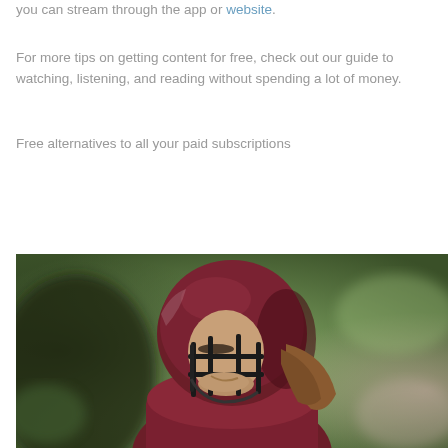you can stream through the app or website.
For more tips on getting content for free, check out our guide to watching, listening, and reading without spending a lot of money.
Free alternatives to all your paid subscriptions
[Figure (photo): A football player wearing a dark maroon/burgundy helmet and uniform, photographed from below looking upward, with a blurred green background.]